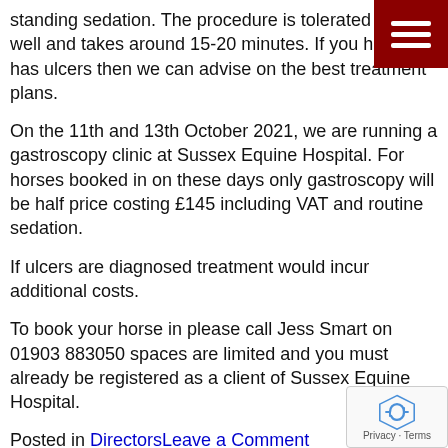standing sedation. The procedure is tolerated very well and takes around 15-20 minutes. If you horse has ulcers then we can advise on the best treatment plans.
[Figure (other): Dark red hamburger menu icon with three white horizontal bars]
On the 11th and 13th October 2021, we are running a gastroscopy clinic at Sussex Equine Hospital. For horses booked in on these days only gastroscopy will be half price costing £145 including VAT and routine sedation.
If ulcers are diagnosed treatment would incur additional costs.
To book your horse in please call Jess Smart on 01903 883050 spaces are limited and you must already be registered as a client of Sussex Equine Hospital.
Posted in DirectorsLeave a Comment
Equine Exports
Posted on Jul 30th , 2021Jul 27th , 2021 by sussex_admin
EQUINE EXPORTS!
Please remember that it now takes longer to obtain all the